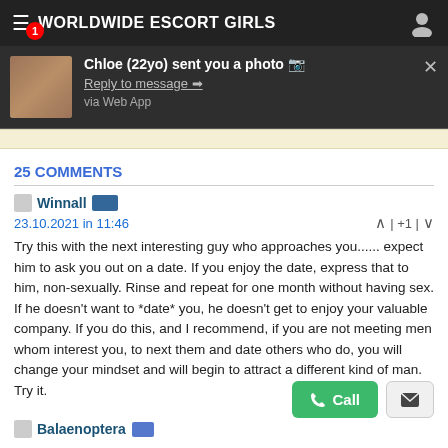WORLDWIDE ESCORT GIRLS
[Figure (screenshot): Notification popup: Chloe (22yo) sent you a photo. Reply to message. via Web App.]
25 COMMENTS
Winnall 23.10.2021 in 11:46 | +1 |
Try this with the next interesting guy who approaches you...... expect him to ask you out on a date. If you enjoy the date, express that to him, non-sexually. Rinse and repeat for one month without having sex. If he doesn't want to *date* you, he doesn't get to enjoy your valuable company. If you do this, and I recommend, if you are not meeting men whom interest you, to next them and date others who do, you will change your mindset and will begin to attract a different kind of man. Try it.
Balaenoptera